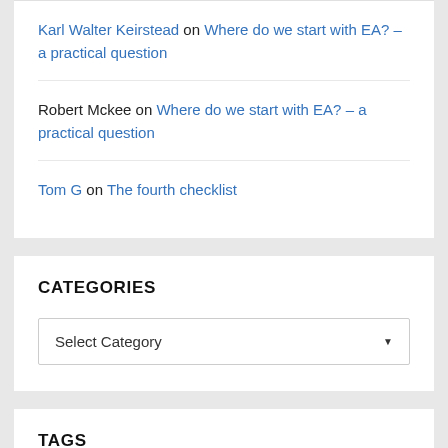Karl Walter Keirstead on Where do we start with EA? – a practical question
Robert Mckee on Where do we start with EA? – a practical question
Tom G on The fourth checklist
CATEGORIES
Select Category
TAGS